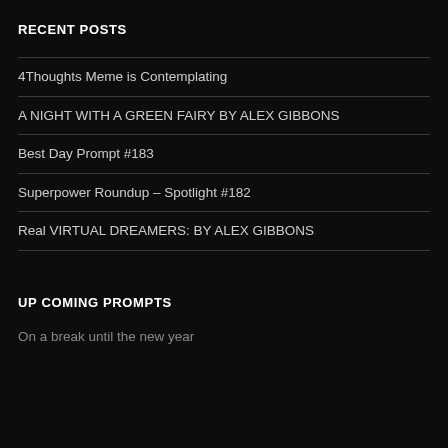RECENT POSTS
4Thoughts Meme is Contemplating
A NIGHT WITH A GREEN FAIRY BY ALEX GIBBONS
Best Day Prompt #183
Superpower Roundup – Spotlight #182
Real VIRTUAL DREAMERS: BY ALEX GIBBONS
UP COMING PROMPTS
On a break until the new year